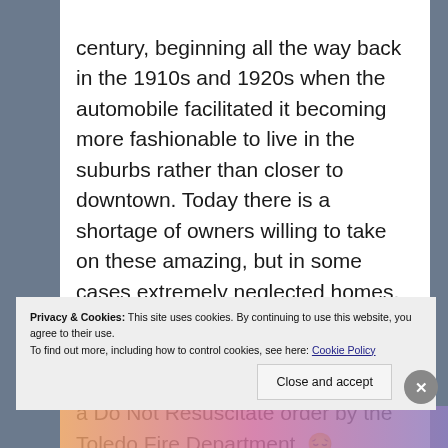century, beginning all the way back in the 1910s and 1920s when the automobile facilitated it becoming more fashionable to live in the suburbs rather than closer to downtown. Today there is a shortage of owners willing to take on these amazing, but in some cases extremely neglected homes. This is one example. The orange sign on the door means that its condition is poor enough it is under a Do Not Resuscitate order by the Toledo Fire Department. 😔 #thisplacemattersOHIO #LoveYourHD #toledodoespreservation
A post shared by Young Ohio Preservationists (@youn...
Privacy & Cookies: This site uses cookies. By continuing to use this website, you agree to their use.
To find out more, including how to control cookies, see here: Cookie Policy
Close and accept